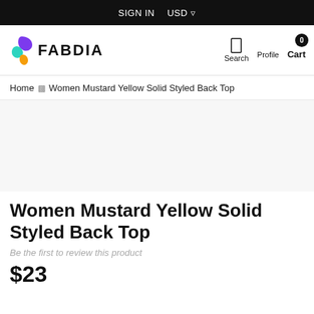SIGN IN   USD
[Figure (logo): Fabdia logo: stylized colorful F shape with purple, green, orange/yellow gradients, followed by text FABDIA in bold]
Search   Profile   Cart 0
Home > Women Mustard Yellow Solid Styled Back Top
Women Mustard Yellow Solid Styled Back Top
Be the first to review this product
$23